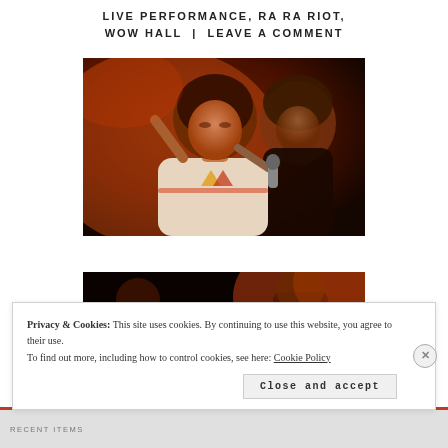LIVE PERFORMANCE, RA RA RIOT, WOW HALL | LEAVE A COMMENT
[Figure (photo): Concert photo of a male singer performing on stage, holding a microphone, wearing a white t-shirt with triangle logo, lit by warm red stage lighting. A second performer visible in background.]
[Figure (photo): Second concert photo, partially visible, dark background with warm red lighting, showing performers on stage.]
Privacy & Cookies: This site uses cookies. By continuing to use this website, you agree to their use.
To find out more, including how to control cookies, see here: Cookie Policy
Close and accept